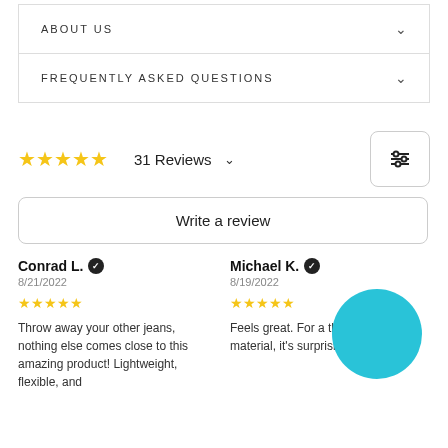ABOUT US
FREQUENTLY ASKED QUESTIONS
31 Reviews
Write a review
Conrad L. ✔ 8/21/2022 ★★★★★ Throw away your other jeans, nothing else comes close to this amazing product! Lightweight, flexible, and
Michael K. ✔ 8/19/2022 ★★★★★ Feels great. For a thin and stretchy material, it's surprisingly warm too.